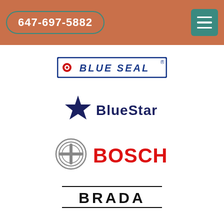647-697-5882
[Figure (logo): Blue Seal brand logo — blue rectangle border with red circle dot and bold blue italic text 'BLUE SEAL' with registered trademark symbol]
[Figure (logo): BlueStar brand logo — dark navy blue star icon on left, bold dark navy text 'BlueStar']
[Figure (logo): Bosch brand logo — circular ring/wheel icon on left, bold red text 'BOSCH']
[Figure (logo): Brada brand logo — bold black blocky text 'BRADA' with horizontal lines above and below]